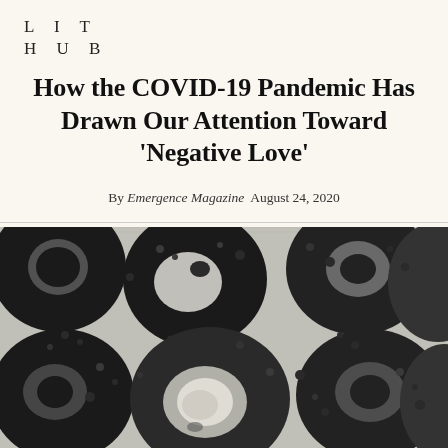L I T
H U B
How the COVID-19 Pandemic Has Drawn Our Attention Toward ‘Negative Love’
By Emergence Magazine  August 24, 2020
[Figure (photo): Black and white photograph showing multiple round, donut-like or circular organic objects (possibly cross-sections of sea urchins, fungi, or similar natural specimens) arranged on a light gridded background.]